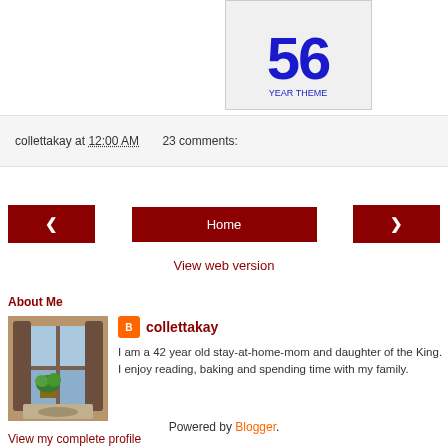[Figure (illustration): Partial blog image showing number 56 in blue text on a light gray background with border]
collettakay at 12:00 AM   23 comments:
[Figure (other): Navigation bar with left arrow button, Home button, and right arrow button in dark red]
View web version
About Me
[Figure (photo): Profile photo showing a window with plant and curtains]
collettakay
I am a 42 year old stay-at-home-mom and daughter of the King. I enjoy reading, baking and spending time with my family.
View my complete profile
Powered by Blogger.